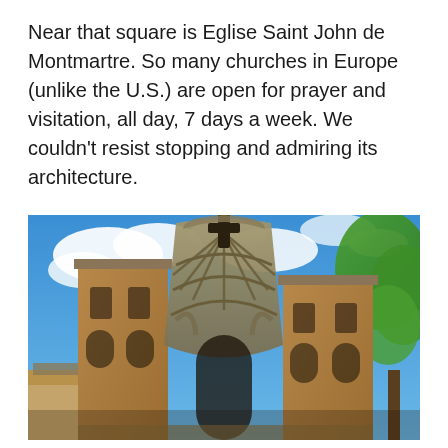Near that square is Eglise Saint John de Montmartre. So many churches in Europe (unlike the U.S.) are open for prayer and visitation, all day, 7 days a week. We couldn't resist stopping and admiring its architecture.
[Figure (photo): Upward-angle photograph of Eglise Saint John de Montmartre church facade showing brick towers, ornate Gothic-Art Nouveau decorative stonework, arched windows, a large rose/fan window, and a cross at the top, against a bright blue sky with white clouds and green trees on the right.]